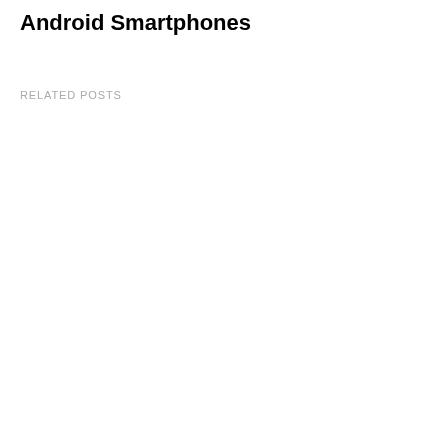Android Smartphones
RELATED POSTS